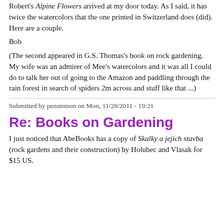Robert's Alpine Flowers arrived at my door today. As I said, it has twice the watercolors that the one printed in Switzerland does (did).
Here are a couple.
Bob
(The second appeared in G.S. Thomas's book on rock gardening.
My wife was an admirer of Mee's watercolors and it was all I could do to talk her out of going to the Amazon and paddling through the rain forest in search of spiders 2m across and stuff like that ...)
Submitted by penstemon on Mon, 11/28/2011 - 19:21
Re: Books on Gardening
I just noticed that AbeBooks has a copy of Skalky a jejich stavba (rock gardens and their construction) by Holubec and Vlasak for $15 US.